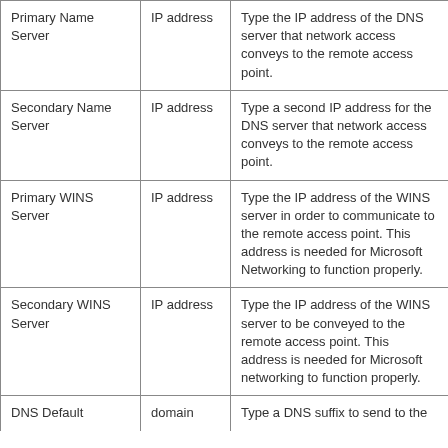| Primary Name Server | IP address | Type the IP address of the DNS server that network access conveys to the remote access point. |
| Secondary Name Server | IP address | Type a second IP address for the DNS server that network access conveys to the remote access point. |
| Primary WINS Server | IP address | Type the IP address of the WINS server in order to communicate to the remote access point. This address is needed for Microsoft Networking to function properly. |
| Secondary WINS Server | IP address | Type the IP address of the WINS server to be conveyed to the remote access point. This address is needed for Microsoft networking to function properly. |
| DNS Default | domain | Type a DNS suffix to send to the |